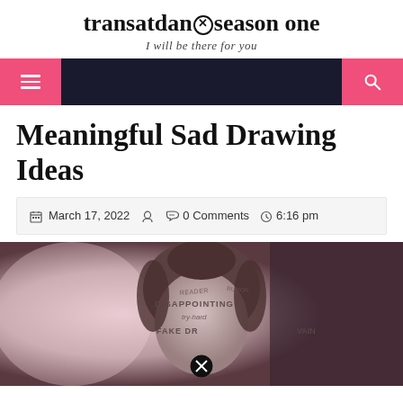transatdan⊗season one — I will be there for you
Meaningful Sad Drawing Ideas
March 17, 2022   0 Comments   6:16 pm
[Figure (photo): A vintage-style black and white portrait of a woman with her hair up, words written on her forehead including DISAPPOINTING, try-hard, FAKE, VAIN, and other text. A circle-X symbol overlays the lower center of the image.]